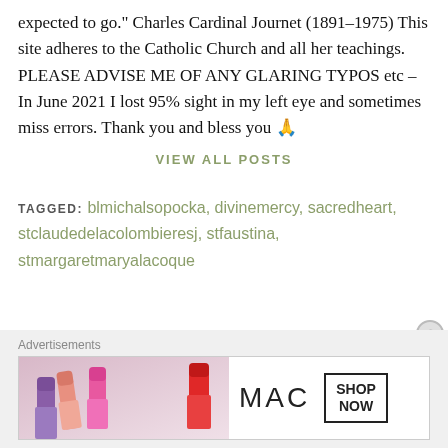expected to go." Charles Cardinal Journet (1891–1975) This site adheres to the Catholic Church and all her teachings. PLEASE ADVISE ME OF ANY GLARING TYPOS etc – In June 2021 I lost 95% sight in my left eye and sometimes miss errors. Thank you and bless you 🙏
VIEW ALL POSTS
TAGGED: blmichalsopocka, divinemercy, sacredheart, stclaudedelacolombieresj, stfaustina, stmargaretmaryalacoque
Advertisements
[Figure (photo): MAC cosmetics advertisement banner showing lipsticks in purple, pink, and red, with MAC brand name and SHOP NOW button]